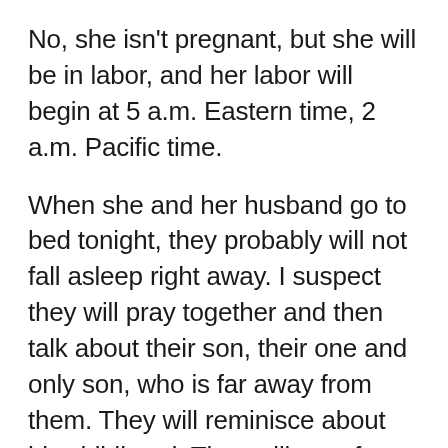No, she isn't pregnant, but she will be in labor, and her labor will begin at 5 a.m. Eastern time, 2 a.m. Pacific time.
When she and her husband go to bed tonight, they probably will not fall asleep right away. I suspect they will pray together and then talk about their son, their one and only son, who is far away from them. They will reminisce about his childhood. They will pray for his endurance and strength. They will try to sleep.
When her alarm sounds at 5, if she is not already awake, my sister will get out of bed and recall all the sleepless nights she had when her